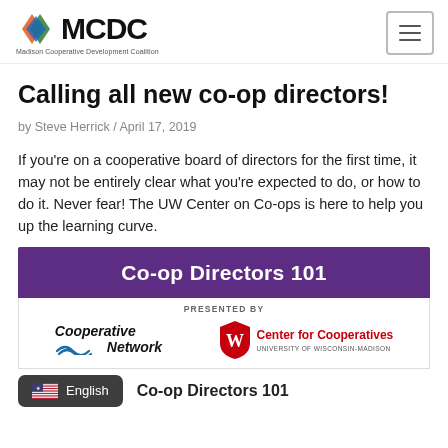[Figure (logo): MCDC Madison Cooperative Development Coalition logo with colorful diamonds]
Calling all new co-op directors!
by Steve Herrick / April 17, 2019
If you're on a cooperative board of directors for the first time, it may not be entirely clear what you're expected to do, or how to do it. Never fear! The UW Center on Co-ops is here to help you up the learning curve.
[Figure (infographic): Co-op Directors 101 banner in purple, presented by Cooperative Network and UW Center for Cooperatives University of Wisconsin-Madison]
Co-op Directors 101
English language button and partial date text